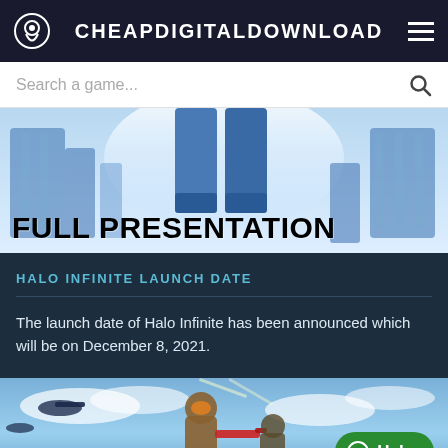CHEAPDIGITALDOWNLOAD
Search a game...
[Figure (screenshot): Banner image showing a stylized sci-fi Halo game scene with a figure in blue armor, with bold text overlay reading FULL PRESENTATION]
FULL PRESENTATION
HALO INFINITE LAUNCH DATE
The launch date of Halo Infinite has been announced which will be on December 8, 2021.
[Figure (screenshot): Bottom banner image showing Halo Infinite game art with soldiers and aircraft against a blue sky, with a green Help button in the lower right]